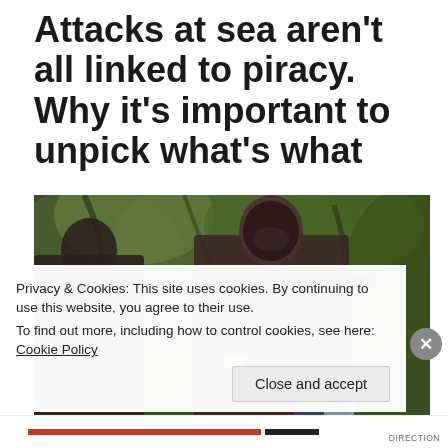Attacks at sea aren't all linked to piracy. Why it's important to unpick what's what
[Figure (photo): Two figures wearing dark clothing and balaclavas in a jungle/forest setting, appearing to be armed]
Privacy & Cookies: This site uses cookies. By continuing to use this website, you agree to their use.
To find out more, including how to control cookies, see here: Cookie Policy
Close and accept